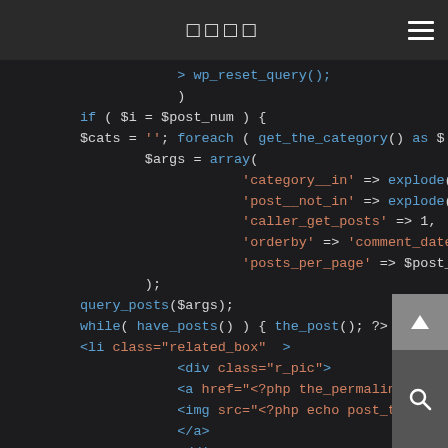□□□□
[Figure (screenshot): Code editor screenshot showing PHP and HTML code snippet for WordPress related posts query with $args array, query_posts, while loop, and HTML list items]
> wp_reset_query();
)
if ( $i = $post_num ) {
$cats = ''; foreach ( get_the_category() as $
$args = array(
            'category__in' => explode(',', $cats)
            'post__not_in' => explode(',', $exclu
            'caller_get_posts' => 1,
            'orderby' => 'comment_date',
            'posts_per_page' => $post_num - $i
);
query_posts($args);
while( have_posts() ) { the_post(); ?>
<li class="related_box"  >
            <div class="r_pic">
            <a href="<?php the_permalink(); ?>" t
            <img src="<?php echo post_thumbnail_s
            </a>
            </div>
            <div class="r_title"><a href="<?php t
</li>
<?php $i++;
} wp_reset_query();
}
if ( $i  ==  0 )   echo '<div class="r_title">□□□□□□!</
?>